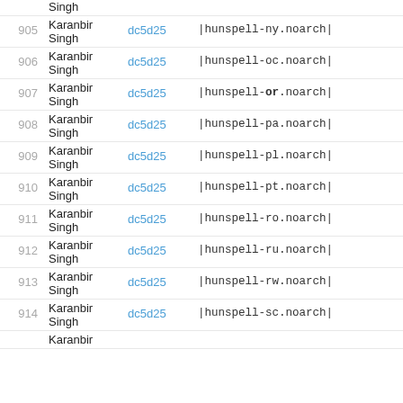| # | Name | Hash | Package |
| --- | --- | --- | --- |
| 905 | Karanbir Singh | dc5d25 | |hunspell-ny.noarch| |
| 906 | Karanbir Singh | dc5d25 | |hunspell-oc.noarch| |
| 907 | Karanbir Singh | dc5d25 | |hunspell-or.noarch| |
| 908 | Karanbir Singh | dc5d25 | |hunspell-pa.noarch| |
| 909 | Karanbir Singh | dc5d25 | |hunspell-pl.noarch| |
| 910 | Karanbir Singh | dc5d25 | |hunspell-pt.noarch| |
| 911 | Karanbir Singh | dc5d25 | |hunspell-ro.noarch| |
| 912 | Karanbir Singh | dc5d25 | |hunspell-ru.noarch| |
| 913 | Karanbir Singh | dc5d25 | |hunspell-rw.noarch| |
| 914 | Karanbir Singh | dc5d25 | |hunspell-sc.noarch| |